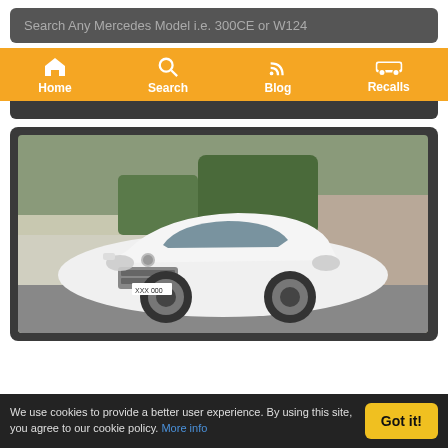Search Any Mercedes Model i.e. 300CE or W124
Home | Search | Blog | Recalls
[Figure (photo): White Mercedes-Benz B-Class hatchback parked on a residential driveway, front three-quarter view, with trees and a brick building in the background.]
We use cookies to provide a better user experience. By using this site, you agree to our cookie policy. More info  Got it!